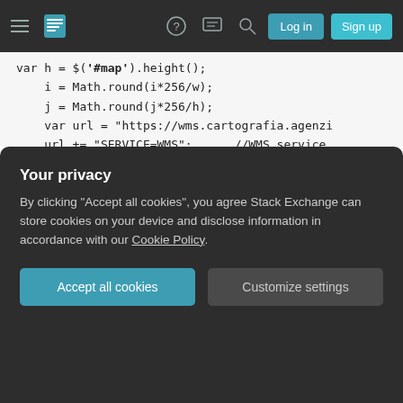Navigation bar with hamburger menu, Stack Overflow logo, help icon, chat icon, search icon, Log in button, Sign up button
var h = $('#map').height();
    i = Math.round(i*256/w);
    j = Math.round(j*256/h);
    var url = "https://wms.cartografia.agenzi
    url += "SERVICE=WMS";      //WMS service
    url += "&VERSION=1.3.0";  //WMS version
    url += "&REQUEST=GetFeatureInfo"; //WMS o
    url += "&FORMAT=image/png" ; //WMS format
    url += "&TRANSPARENT=TRUE";
    url += "&QUERY_LAYERS=CP.CadastralParcel"
    url += "&LAYERS=CP.CadastralParcel"; //,C
    url += "&TILED=true";
    url += "&INFO_FORMAT=text/html";
    url += "&I="+i;
    url += "&J="+j;
Your privacy
By clicking "Accept all cookies", you agree Stack Exchange can store cookies on your device and disclose information in accordance with our Cookie Policy.
Accept all cookies   Customize settings